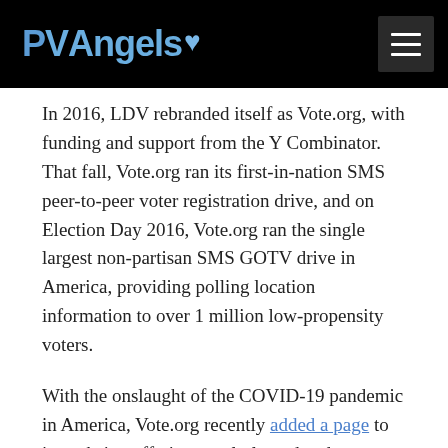PVAngels
In 2016, LDV rebranded itself as Vote.org, with funding and support from the Y Combinator. That fall, Vote.org ran its first-in-nation SMS peer-to-peer voter registration drive, and on Election Day 2016, Vote.org ran the single largest non-partisan SMS GOTV drive in America, providing polling location information to over 1 million low-propensity voters.
With the onslaught of the COVID-19 pandemic in America, Vote.org recently added a page to its website, offering regularly updated, state-by-state information for voters whose primaries have been postponed or otherwise delayed. As the pandemic creates new barriers to safe and fair elections, Vote.org is working to keep voters engaged in the democratic process and prevent misinformation from